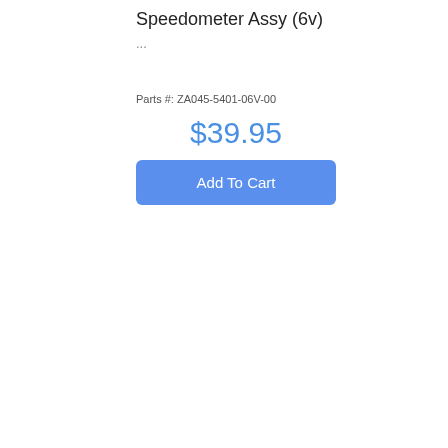Speedometer Assy (6v)
...
Parts #: ZA045-5401-06V-00
$39.95
Add To Cart
[Figure (photo): Product card with red background showing Pro50Parts Australia logo, part number 18320-045-871P, PIPE, EXHAUST label, and a photo of a chrome exhaust pipe bent in an S-curve shape on grey background.]